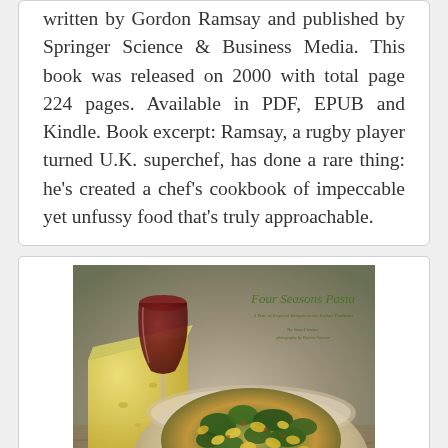written by Gordon Ramsay and published by Springer Science & Business Media. This book was released on 2000 with total page 224 pages. Available in PDF, EPUB and Kindle. Book excerpt: Ramsay, a rugby player turned U.K. superchef, has done a rare thing: he's created a chef's cookbook of impeccable yet unfussy food that's truly approachable.
[Figure (photo): Book cover of 'Four Seasons Pasta' by Janet Fletcher, showing a bowl of orecchiette pasta with broccoli rabe and other ingredients, alongside a wedge of cheese and a glass of red wine in the background.]